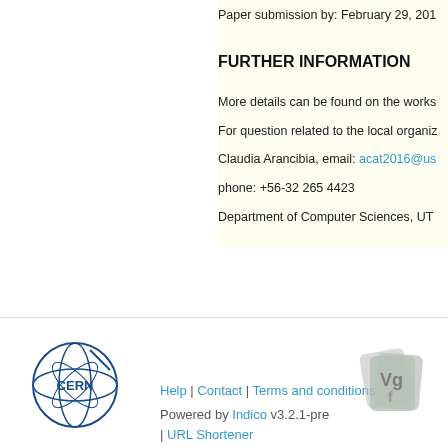Paper submission by: February 29, 201...
FURTHER INFORMATION
More details can be found on the works...
For question related to the local organiz...
Claudia Arancibia, email: acat2016@us...
phone: +56-32 265 4423
Department of Computer Sciences, UT...
Help | Contact | Terms and conditions | Powered by Indico v3.2.1-pre | URL Shortener